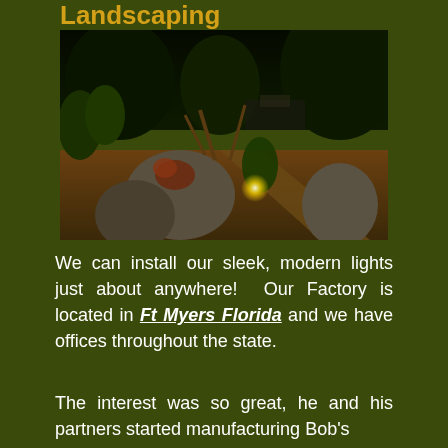Landscaping
[Figure (photo): Night-time photo of a professionally landscaped garden with illuminated plants, rocks, gravel ground cover, and a lit pathway in the background with trees and a house visible.]
We can install our sleek, modern lights just about anywhere!  Our Factory is located in Ft Myers Florida and we have offices throughout the state.
The interest was so great, he and his partners started manufacturing Bob's